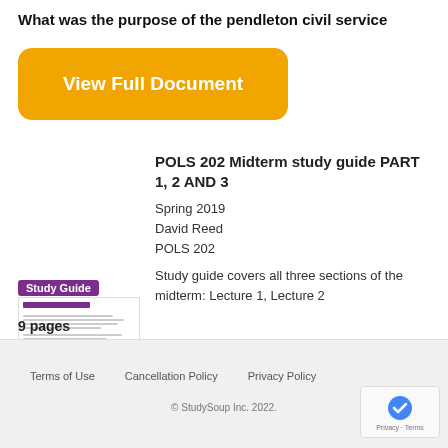What was the purpose of the pendleton civil service
[Figure (screenshot): Orange 'View Full Document' button]
[Figure (screenshot): Study guide document thumbnail with purple 'Study Guide' badge, showing a preview of POLS 202 Midterm study guide document]
9 pages
POLS 202 Midterm study guide PART 1, 2 AND 3
Spring 2019
David Reed
POLS 202
Study guide covers all three sections of the midterm: Lecture 1, Lecture 2
Terms of Use   Cancellation Policy   Privacy Policy   © StudySoup Inc. 2022.